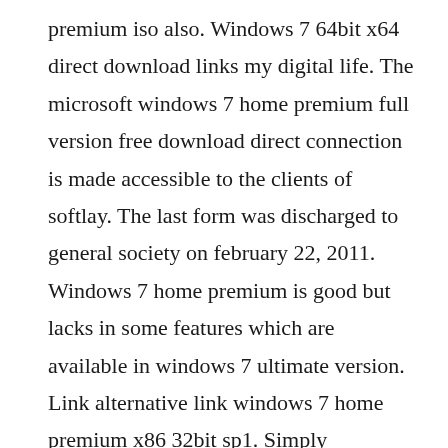premium iso also. Windows 7 64bit x64 direct download links my digital life. The microsoft windows 7 home premium full version free download direct connection is made accessible to the clients of softlay. The last form was discharged to general society on february 22, 2011. Windows 7 home premium is good but lacks in some features which are available in windows 7 ultimate version. Link alternative link windows 7 home premium x86 32bit sp1. Simply download a windows 7 iso file or disc image and then create a usb or